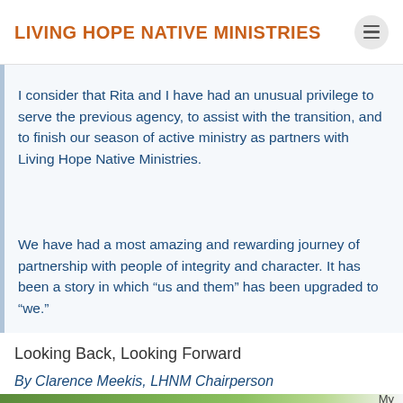LIVING HOPE NATIVE MINISTRIES
I consider that Rita and I have had an unusual privilege to serve the previous agency, to assist with the transition, and to finish our season of active ministry as partners with Living Hope Native Ministries.
We have had a most amazing and rewarding journey of partnership with people of integrity and character. It has been a story in which “us and them” has been upgraded to “we.”
Looking Back, Looking Forward
By Clarence Meekis, LHNM Chairperson
[Figure (photo): Partial view of an outdoor photo at the bottom of the page, partially cut off, with green vegetation visible. Text 'My' appears on the right side.]